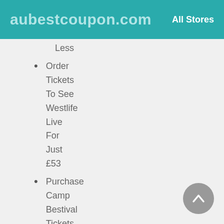aubestcoupon.com   All Stores
Less
Order Tickets To See Westlife Live For Just £53
Purchase Camp Bestival Tickets For Only £44